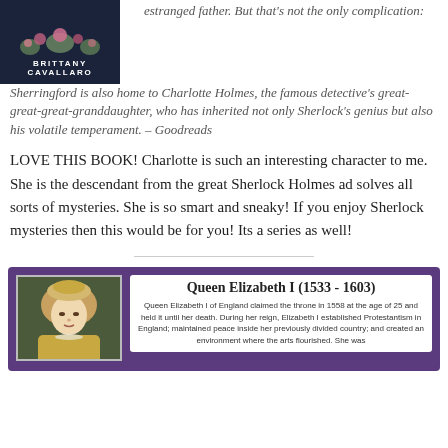[Figure (illustration): Book cover for a novel by Brittany Cavallaro with dark navy background and floral illustration at top]
estranged father. But that's not the only complication: Sherringford is also home to Charlotte Holmes, the famous detective's great-great-great-granddaughter, who has inherited not only Sherlock's genius but also his volatile temperament. – Goodreads
LOVE THIS BOOK! Charlotte is such an interesting character to me. She is the descendant from the great Sherlock Holmes ad solves all sorts of mysteries. She is so smart and sneaky! If you enjoy Sherlock mysteries then this would be for you! Its a series as well!
[Figure (infographic): Purple card about Queen Elizabeth I (1533-1603) with portrait painting on left and descriptive text on right]
Queen Elizabeth I (1533 - 1603)
Queen Elizabeth I of England claimed the throne in 1558 at the age of 25 and held it until her death. During her reign, Elizabeth I established Protestantism in England; maintained peace inside her previously divided country; and created an environment where the arts flourished. She was